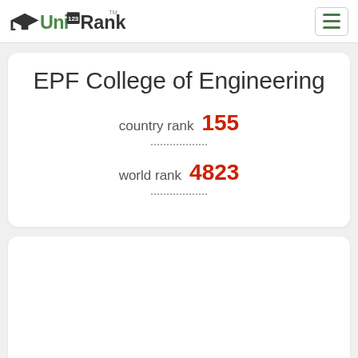UniRank
EPF College of Engineering
country rank 155
world rank 4823
[Figure (other): Empty white card section below the ranking card]